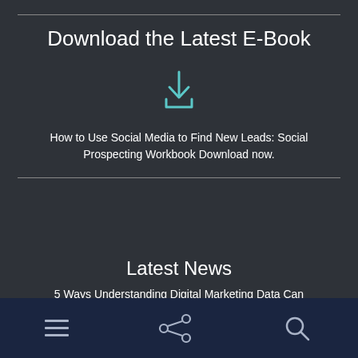Download the Latest E-Book
[Figure (illustration): Download icon: downward arrow into a tray, teal/cyan color]
How to Use Social Media to Find New Leads: Social Prospecting Workbook Download now.
Latest News
5 Ways Understanding Digital Marketing Data Can Help You Beat Your Competitors Read More.
5 Profit Pulling Analytics
[Figure (illustration): Mobile navigation bar with hamburger menu, share icon, and search icon on dark navy background]